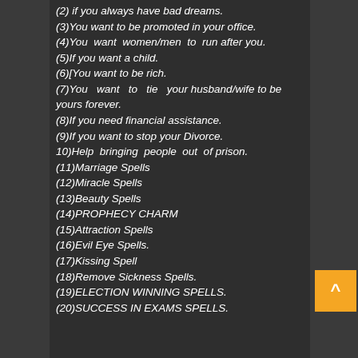(2) if you always have bad dreams.
(3)You want to be promoted in your office.
(4)You want women/men to run after you.
(5)If you want a child.
(6)[You want to be rich.
(7)You want to tie your husband/wife to be yours forever.
(8)If you need financial assistance.
(9)If you want to stop your Divorce.
10)Help bringing people out of prison.
(11)Marriage Spells
(12)Miracle Spells
(13)Beauty Spells
(14)PROPHECY CHARM
(15)Attraction Spells
(16)Evil Eye Spells.
(17)Kissing Spell
(18)Remove Sickness Spells.
(19)ELECTION WINNING SPELLS.
(20)SUCCESS IN EXAMS SPELLS.